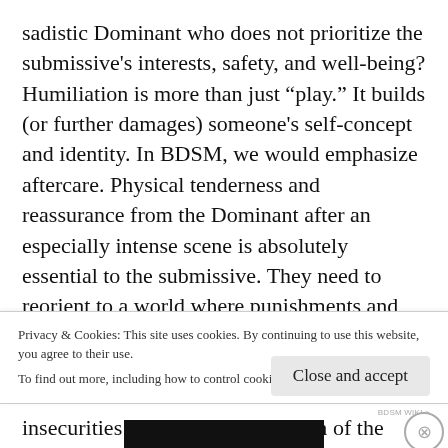sadistic Dominant who does not prioritize the submissive's interests, safety, and well-being? Humiliation is more than just "play." It builds (or further damages) someone's self-concept and identity. In BDSM, we would emphasize aftercare. Physical tenderness and reassurance from the Dominant after an especially intense scene is absolutely essential to the submissive. They need to reorient to a world where punishments and restraints are not typical. In the same way, with humiliation, the submissive needs to be reassured that a baseline exists where their insecurities and the harsh criticism of the
Privacy & Cookies: This site uses cookies. By continuing to use this website, you agree to their use.
To find out more, including how to control cookies, see here: Cookie Policy
Close and accept